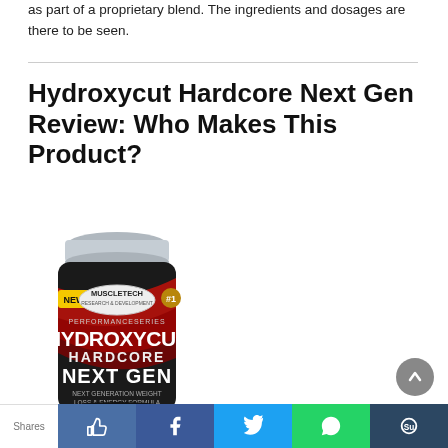as part of a proprietary blend. The ingredients and dosages are there to be seen.
Hydroxycut Hardcore Next Gen Review: Who Makes This Product?
[Figure (photo): Product photo of Hydroxycut Hardcore Next Gen supplement bottle by MuscleTech, showing a black bottle with red and silver design labeling HYDROXYCUT HARDCORE NEXT GEN, NEXT GENERATION WEIGHT LOSS & ENERGY FORMULA, with a silver cap.]
Shares [thumbs up] [f] [Twitter bird] [WhatsApp] [Stumbleupon]